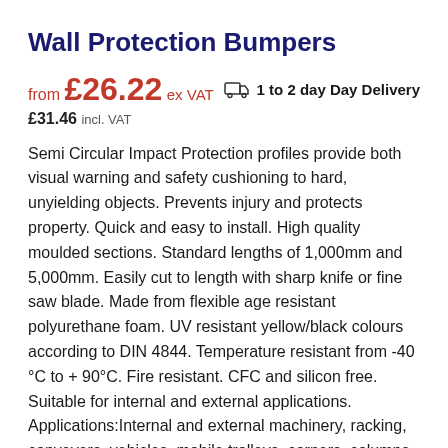Wall Protection Bumpers
from £26.22 ex VAT   1 to 2 day Day Delivery
£31.46 incl. VAT
Semi Circular Impact Protection profiles provide both visual warning and safety cushioning to hard, unyielding objects. Prevents injury and protects property. Quick and easy to install. High quality moulded sections. Standard lengths of 1,000mm and 5,000mm. Easily cut to length with sharp knife or fine saw blade. Made from flexible age resistant polyurethane foam. UV resistant yellow/black colours according to DIN 4844. Temperature resistant from -40 °C to + 90°C. Fire resistant. CFC and silicon free. Suitable for internal and external applications. Applications:Internal and external machinery, racking, conveyers, vehicles, mobile trolleys, corners, columns, girders, production areas